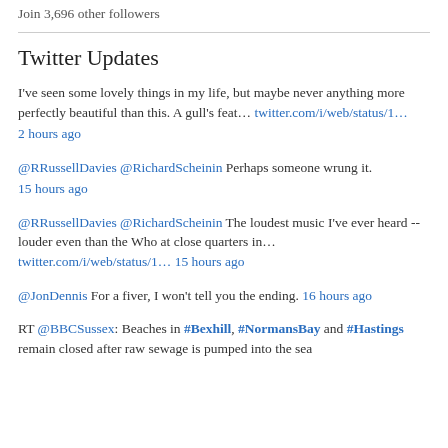Join 3,696 other followers
Twitter Updates
I've seen some lovely things in my life, but maybe never anything more perfectly beautiful than this. A gull's feat… twitter.com/i/web/status/1… 2 hours ago
@RRussellDavies @RichardScheinin Perhaps someone wrung it. 15 hours ago
@RRussellDavies @RichardScheinin The loudest music I've ever heard -- louder even than the Who at close quarters in… twitter.com/i/web/status/1… 15 hours ago
@JonDennis For a fiver, I won't tell you the ending. 16 hours ago
RT @BBCSussex: Beaches in #Bexhill, #NormansBay and #Hastings remain closed after raw sewage is pumped into the sea